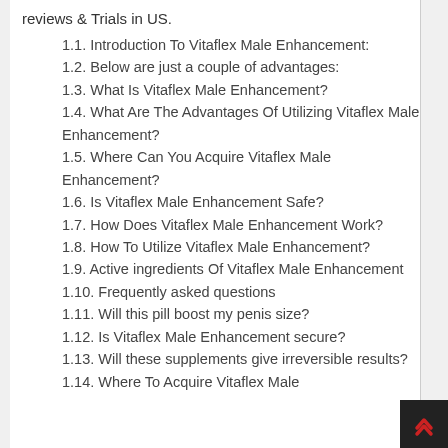reviews & Trials in US.
1.1. Introduction To Vitaflex Male Enhancement:
1.2. Below are just a couple of advantages:
1.3. What Is Vitaflex Male Enhancement?
1.4. What Are The Advantages Of Utilizing Vitaflex Male Enhancement?
1.5. Where Can You Acquire Vitaflex Male Enhancement?
1.6. Is Vitaflex Male Enhancement Safe?
1.7. How Does Vitaflex Male Enhancement Work?
1.8. How To Utilize Vitaflex Male Enhancement?
1.9. Active ingredients Of Vitaflex Male Enhancement
1.10. Frequently asked questions
1.11. Will this pill boost my penis size?
1.12. Is Vitaflex Male Enhancement secure?
1.13. Will these supplements give irreversible results?
1.14. Where To Acquire Vitaflex Male